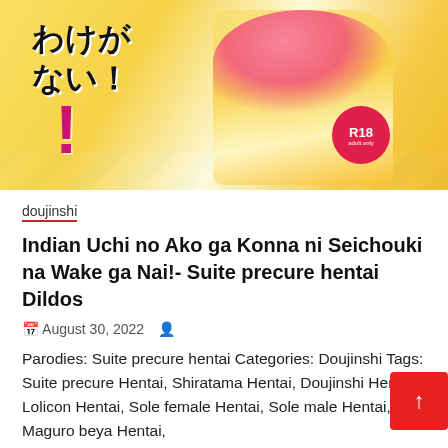[Figure (illustration): Anime/manga style illustration cover of a doujinshi featuring a character in yellow outfit with Japanese text and R18 badge]
doujinshi
Indian Uchi no Ako ga Konna ni Seichouki na Wake ga Nai!- Suite precure hentai Dildos
August 30, 2022
Parodies: Suite precure hentai Categories: Doujinshi Tags: Suite precure Hentai, Shiratama Hentai, Doujinshi Hentai, Lolicon Hentai, Sole female Hentai, Sole male Hentai, Maguro beya Hentai,